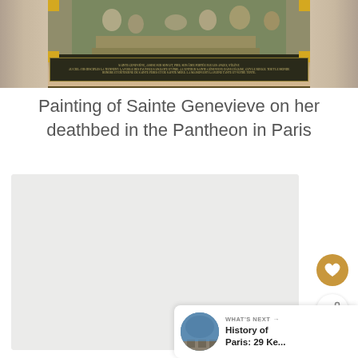[Figure (photo): Top portion of a painting of Sainte Genevieve on her deathbed, displayed in the Pantheon in Paris, showing figures around a deathbed with a dark inscription bar at the bottom and architectural columns on the sides]
Painting of Sainte Genevieve on her deathbed in the Pantheon in Paris
[Figure (photo): Lower portion or second image area showing a large light gray blank/loading image placeholder]
WHAT'S NEXT → History of Paris: 29 Ke...